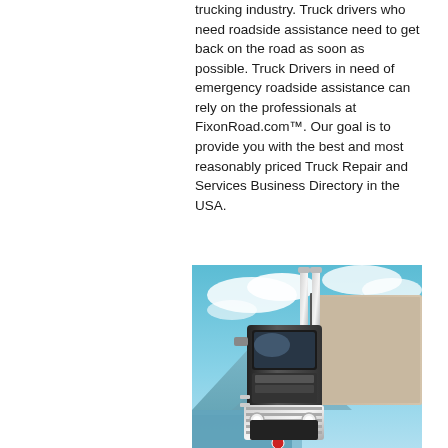trucking industry. Truck drivers who need roadside assistance need to get back on the road as soon as possible. Truck Drivers in need of emergency roadside assistance can rely on the professionals at FixonRoad.com™. Our goal is to provide you with the best and most reasonably priced Truck Repair and Services Business Directory in the USA.
[Figure (photo): A close-up photo of a chrome and black semi-truck cab (Peterbilt style) with tall exhaust stacks, photographed from a low angle against a blue sky with clouds, with mountains and water visible in the background.]